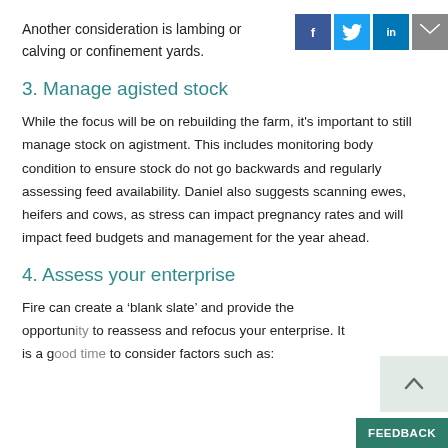Another consideration is lambing or calving or confinement yards.
3. Manage agisted stock
While the focus will be on rebuilding the farm, it’s important to still manage stock on agistment. This includes monitoring body condition to ensure stock do not go backwards and regularly assessing feed availability. Daniel also suggests scanning ewes, heifers and cows, as stress can impact pregnancy rates and will impact feed budgets and management for the year ahead.
4. Assess your enterprise
Fire can create a ‘blank slate’ and provide the opportunity to reassess and refocus your enterprise. It is a good time to consider factors such as: